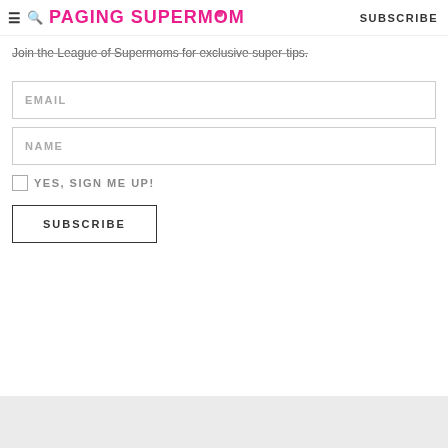PAGING SUPERMOM | SUBSCRIBE
Join the League of Supermoms for exclusive super-tips.
EMAIL (form field)
NAME (form field)
YES, SIGN ME UP! (checkbox)
SUBSCRIBE (button)